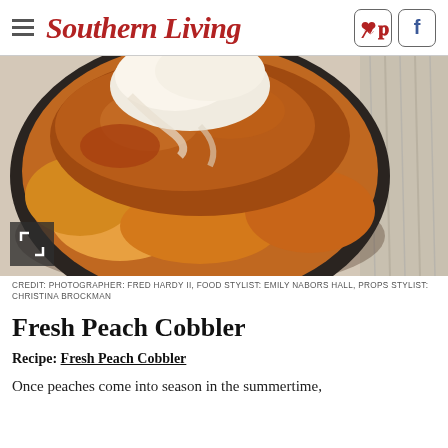Southern Living
[Figure (photo): Close-up photo of fresh peach cobbler in a dark bowl, topped with a scoop of ice cream or whipped cream. A striped cloth is visible in the upper right. Photo on a light gray surface.]
CREDIT: PHOTOGRAPHER: FRED HARDY II, FOOD STYLIST: EMILY NABORS HALL, PROPS STYLIST: CHRISTINA BROCKMAN
Fresh Peach Cobbler
Recipe: Fresh Peach Cobbler
Once peaches come into season in the summertime,